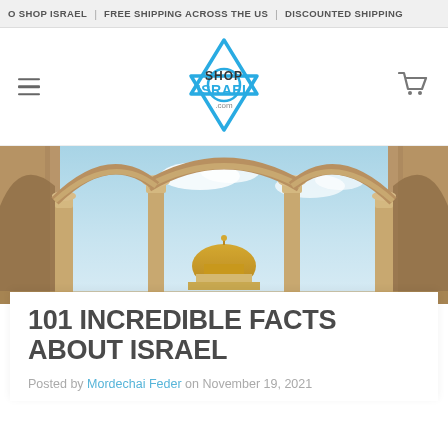O SHOP ISRAEL | FREE SHIPPING ACROSS THE US | DISCOUNTED SHIPPING
[Figure (logo): Shop Israel .com logo — blue atomic/Star-of-David outline with SHOP in dark text and ISRAEL in bold blue text, .com below]
[Figure (photo): Photograph of the Dome of the Rock in Jerusalem viewed through ancient stone arches with columns, blue sky with clouds]
101 INCREDIBLE FACTS ABOUT ISRAEL
Posted by Mordechai Feder on November 19, 2021